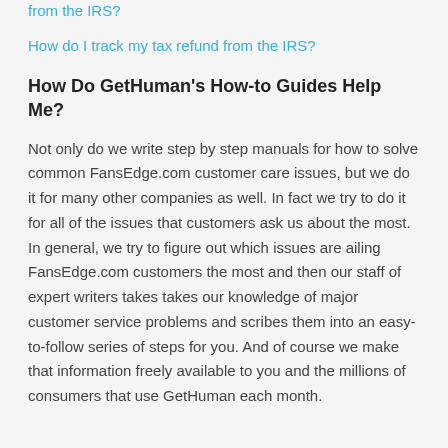from the IRS?
How do I track my tax refund from the IRS?
How Do GetHuman's How-to Guides Help Me?
Not only do we write step by step manuals for how to solve common FansEdge.com customer care issues, but we do it for many other companies as well. In fact we try to do it for all of the issues that customers ask us about the most. In general, we try to figure out which issues are ailing FansEdge.com customers the most and then our staff of expert writers takes takes our knowledge of major customer service problems and scribes them into an easy-to-follow series of steps for you. And of course we make that information freely available to you and the millions of consumers that use GetHuman each month.